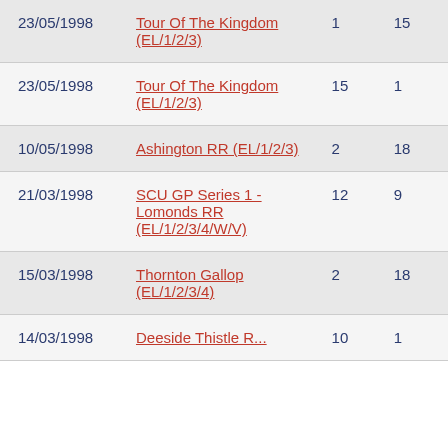| Date | Race | Col3 | Col4 |
| --- | --- | --- | --- |
| 23/05/1998 | Tour Of The Kingdom (EL/1/2/3) | 1 | 15 |
| 23/05/1998 | Tour Of The Kingdom (EL/1/2/3) | 15 | 1 |
| 10/05/1998 | Ashington RR (EL/1/2/3) | 2 | 18 |
| 21/03/1998 | SCU GP Series 1 - Lomonds RR (EL/1/2/3/4/W/V) | 12 | 9 |
| 15/03/1998 | Thornton Gallop (EL/1/2/3/4) | 2 | 18 |
| 14/03/1998 | Deeside Thistle Racing... | 10 | 1 |